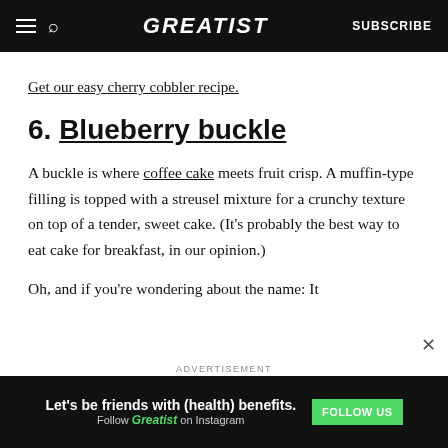GREATIST | SUBSCRIBE
Get our easy cherry cobbler recipe.
6. Blueberry buckle
A buckle is where coffee cake meets fruit crisp. A muffin-type filling is topped with a streusel mixture for a crunchy texture on top of a tender, sweet cake. (It’s probably the best way to eat cake for breakfast, in our opinion.)
Oh, and if you’re wondering about the name: It
ADVERTISEMENT
Let’s be friends with (health) benefits. Follow GREATIST on Instagram FOLLOW US